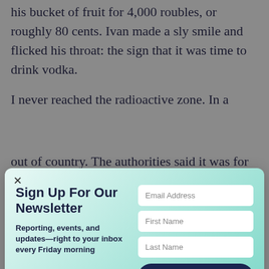his bucket of fruit for 4,000 roubles, or roughly 80 cents. Ivan made a sly smile and flicked his throat: the sign that it was time to drink vodka.
I never reached the radioactive zone. In a
[Figure (screenshot): Newsletter signup modal popup with gradient background (light green to teal). Contains a close (x) button, heading 'Sign Up For Our Newsletter', description text 'Reporting, events, and updates—right to your inbox every Friday morning', and form fields for Email Address, First Name, Last Name, and a Subscribe Now button.]
out of country. The authorities said it was for reporting without press accreditation, with allusions to industrial espionage that threatened national security. "You must leave the Democrat Republic of Belarus within twenty-four hours," a